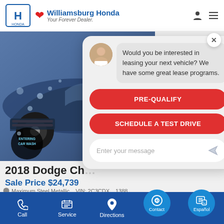Williamsburg Honda - Your Forever Dealer.
[Figure (screenshot): Car wash dealership screenshot showing a 2018 Dodge Challenger with chatbot overlay, navigation bar, and vehicle listing details.]
Would you be interested in leasing your next vehicle? We have some great lease programs.
PRE-QUALIFY
SCHEDULE A TEST DRIVE
Enter your message
2018 Dodge Ch
Sale Price $24,739
Maximum Steel Metallic
VIN: 2C3CDX...1388
Call  Service  Directions  Contact  Español